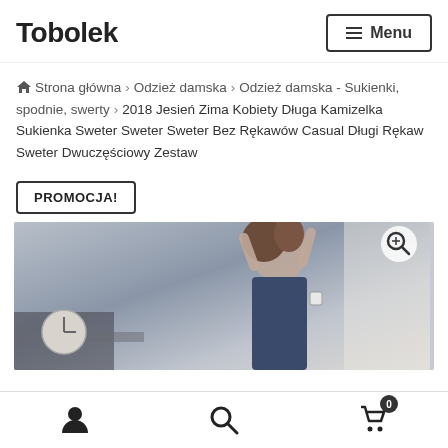Tobolek
Strona główna › Odzież damska › Odzież damska - Sukienki, spodnie, swerty › 2018 Jesień Zima Kobiety Długa Kamizelka Sukienka Sweter Sweter Sweter Bez Rękawów Casual Długi Rękaw Sweter Dwuczęściowy Zestaw
PROMOCJA!
[Figure (photo): Product photo showing a woman wearing a dark sleeveless vest/dress, holding her hair up, with a watch on her wrist. Indoor setting.]